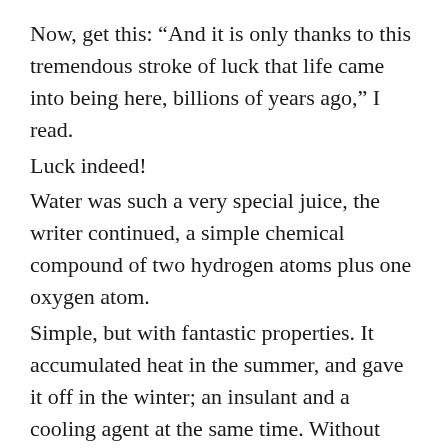Now, get this: “And it is only thanks to this tremendous stroke of luck that life came into being here, billions of years ago,” I read.
Luck indeed!
Water was such a very special juice, the writer continued, a simple chemical compound of two hydrogen atoms plus one oxygen atom.
Simple, but with fantastic properties. It accumulated heat in the summer, and gave it off in the winter; an insulant and a cooling agent at the same time. Without water, our planet would alternate between blistering heat and searing cold.
Hydrogen dioxide was also such an excellent solvent for practically all substances. And so ideal for the transport of nutrients in plant and animal. Now, isn’t that just another stroke of luck?